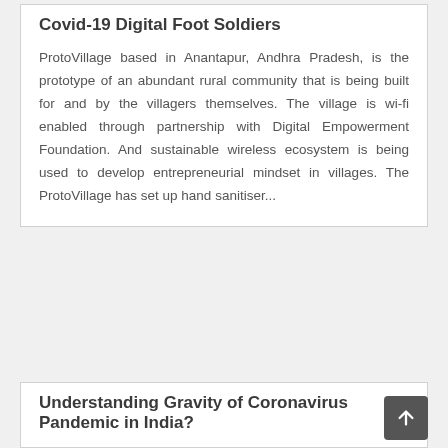Covid-19 Digital Foot Soldiers
ProtoVillage based in Anantapur, Andhra Pradesh, is the prototype of an abundant rural community that is being built for and by the villagers themselves. The village is wi-fi enabled through partnership with Digital Empowerment Foundation. And sustainable wireless ecosystem is being used to develop entrepreneurial mindset in villages. The ProtoVillage has set up hand sanitiser...
Understanding Gravity of Coronavirus Pandemic in India?